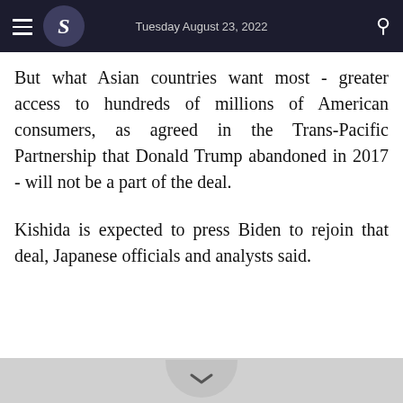Tuesday August 23, 2022
But what Asian countries want most - greater access to hundreds of millions of American consumers, as agreed in the Trans-Pacific Partnership that Donald Trump abandoned in 2017 - will not be a part of the deal.
Kishida is expected to press Biden to rejoin that deal, Japanese officials and analysts said.